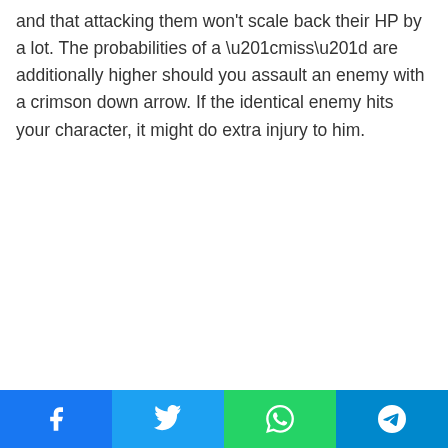and that attacking them won't scale back their HP by a lot. The probabilities of a “miss” are additionally higher should you assault an enemy with a crimson down arrow. If the identical enemy hits your character, it might do extra injury to him.
[Figure (other): Social media share buttons bar: Facebook (blue), Twitter (light blue), WhatsApp (green), Telegram (dark blue), each with respective icons in white.]